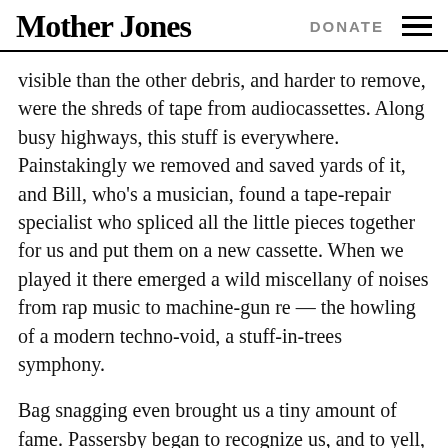Mother Jones  DONATE
visible than the other debris, and harder to remove, were the shreds of tape from audiocassettes. Along busy highways, this stuff is everywhere. Painstakingly we removed and saved yards of it, and Bill, who's a musician, found a tape-repair specialist who spliced all the little pieces together for us and put them on a new cassette. When we played it there emerged a wild miscellany of noises from rap music to machine-gun re — the howling of a modern techno-void, a stuff-in-trees symphony.
Bag snagging even brought us a tiny amount of fame. Passersby began to recognize us, and to yell, "Look — it's the bag-removal guys!" National Public